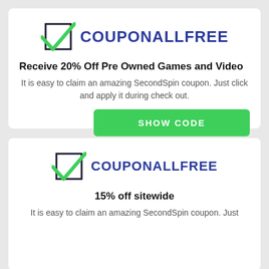[Figure (logo): CouponAllFree logo with green checkmark in a box and bold blue text COUPONALLFREE]
Receive 20% Off Pre Owned Games and Video
It is easy to claim an amazing SecondSpin coupon. Just click and apply it during check out.
[Figure (logo): CouponAllFree logo with green checkmark in a box and bold blue text COUPONALLFREE]
15% off sitewide
It is easy to claim an amazing SecondSpin coupon. Just